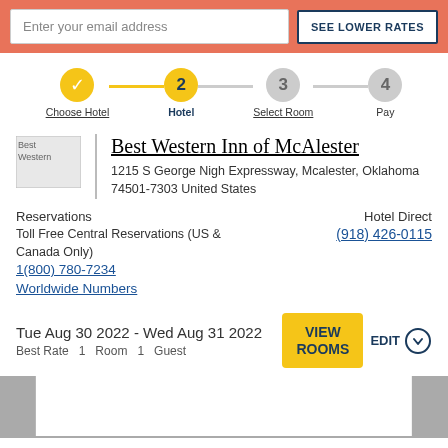Enter your email address
SEE LOWER RATES
[Figure (infographic): Step progress bar with 4 steps: step 1 (checkmark, completed), step 2 (2, active - Hotel), step 3 (3, inactive - Select Room), step 4 (4, inactive - Pay)]
[Figure (logo): Best Western hotel logo placeholder image]
Best Western Inn of McAlester
1215 S George Nigh Expressway, Mcalester, Oklahoma 74501-7303 United States
Reservations
Hotel Direct
Toll Free Central Reservations (US & Canada Only) 1(800) 780-7234 Worldwide Numbers
(918) 426-0115
Tue Aug 30 2022 - Wed Aug 31 2022
Best Rate   1  Room  1  Guest
VIEW ROOMS
EDIT